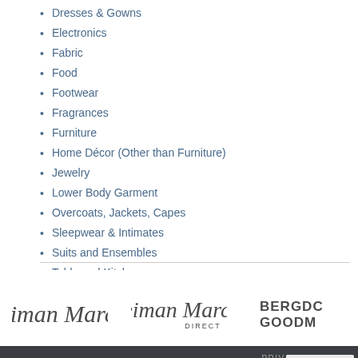Dresses & Gowns
Electronics
Fabric
Food
Footwear
Fragrances
Furniture
Home Décor (Other than Furniture)
Jewelry
Lower Body Garment
Overcoats, Jackets, Capes
Sleepwear & Intimates
Suits and Ensembles
Table and Kitchenware
Toys
Upper Body Garments
[Figure (logo): Neiman Marcus logo in italic script]
[Figure (logo): Neiman Marcus Direct logo in italic script]
[Figure (logo): Bergdorf Goodman logo in bold uppercase letters (partially cropped)]
PRIVACY | CODE O... © Copyright 2023. The N...